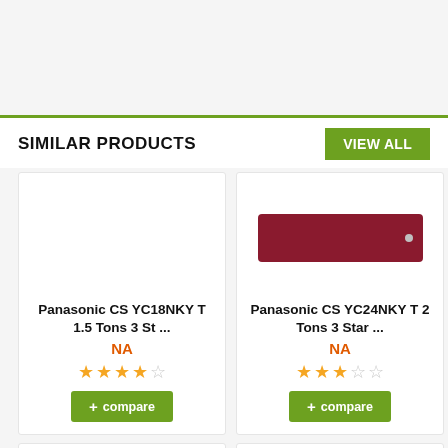SIMILAR PRODUCTS
VIEW ALL
[Figure (photo): Panasonic CS YC18NKY T air conditioner product card with NA price, 4 out of 5 stars, and compare button]
[Figure (photo): Panasonic CS YC24NKY T 2 air conditioner product card with NA price, 3 out of 5 stars, and compare button]
[Figure (photo): Panasonic smartphone product image (bottom left)]
[Figure (photo): Panasonic smartphone product image (bottom right)]